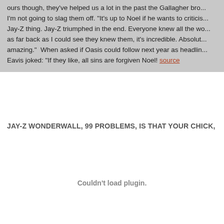ours though, they've helped us a lot in the past the Gallagher bro... I'm not going to slag them off. "It's up to Noel if he wants to criticis... Jay-Z thing. Jay-Z triumphed in the end. Everyone knew all the wo... as far back as I could see they knew them, it's incredible. Absolut... amazing."  When asked if Oasis could follow next year as headlin... Eavis joked: "If they like, all sins are forgiven Noel! source
JAY-Z WONDERWALL, 99 PROBLEMS, IS THAT YOUR CHICK,
Couldn't load plugin.